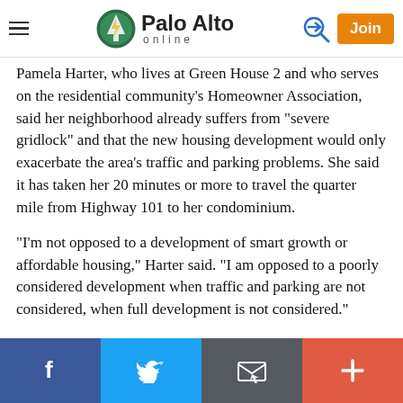Palo Alto online — navigation header with hamburger menu, logo, login arrow, and Join button
Pamela Harter, who lives at Green House 2 and who serves on the residential community's Homeowner Association, said her neighborhood already suffers from "severe gridlock" and that the new housing development would only exacerbate the area's traffic and parking problems. She said it has taken her 20 minutes or more to travel the quarter mile from Highway 101 to her condominium.
"I'm not opposed to a development of smart growth or affordable housing," Harter said. "I am opposed to a poorly considered development when traffic and parking are not considered, when full development is not considered."
Social share bar: Facebook, Twitter, Email, More